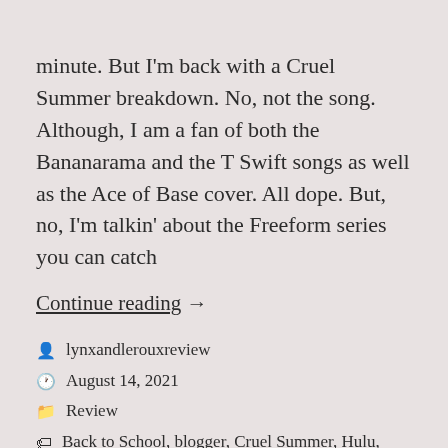minute. But I'm back with a Cruel Summer breakdown. No, not the song. Although, I am a fan of both the Bananarama and the T Swift songs as well as the Ace of Base cover. All dope. But, no, I'm talkin' about the Freeform series you can catch
Continue reading →
lynxandlerouxreview
August 14, 2021
Review
Back to School, blogger, Cruel Summer, Hulu, mystery, Mystery series, review blogger, Television, TV Review
Leave a comment